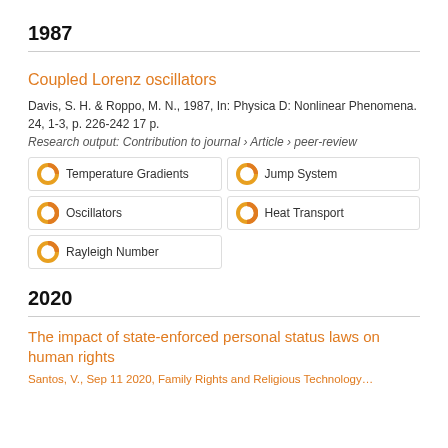1987
Coupled Lorenz oscillators
Davis, S. H. & Roppo, M. N., 1987, In: Physica D: Nonlinear Phenomena. 24, 1-3, p. 226-242 17 p.
Research output: Contribution to journal › Article › peer-review
Temperature Gradients | Jump System | Oscillators | Heat Transport | Rayleigh Number
2020
The impact of state-enforced personal status laws on human rights
Santos, V., Sep 11 2020, Family Rights and Religious Technology...